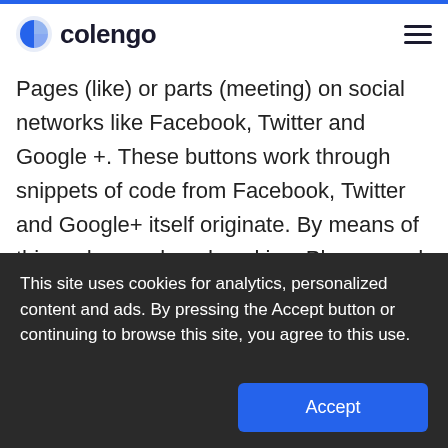colengo
Pages (like) or parts (meeting) on social networks like Facebook, Twitter and Google +. These buttons work through snippets of code from Facebook, Twitter and Google+ itself originate. By means of this code are placed cookies. Please read the privacy statements of these companies (which may change regularly) to read what they do with
This site uses cookies for analytics, personalized content and ads. By pressing the Accept button or continuing to browse this site, you agree to this use.